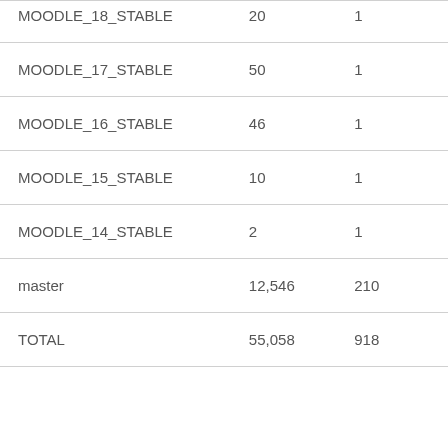| MOODLE_18_STABLE | 20 | 1 |
| MOODLE_17_STABLE | 50 | 1 |
| MOODLE_16_STABLE | 46 | 1 |
| MOODLE_15_STABLE | 10 | 1 |
| MOODLE_14_STABLE | 2 | 1 |
| master | 12,546 | 210 |
| TOTAL | 55,058 | 918 |